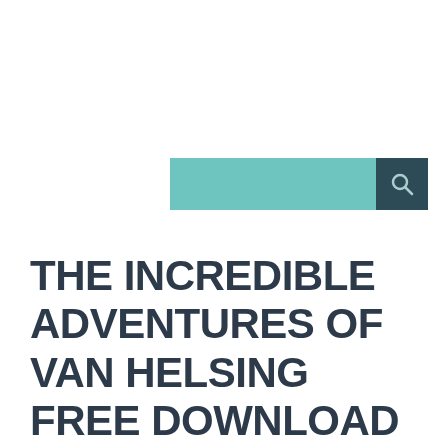[Figure (other): Search bar with teal input field and dark teal search button containing a magnifying glass icon]
THE INCREDIBLE ADVENTURES OF VAN HELSING FREE DOWNLOAD FULL PC GAME